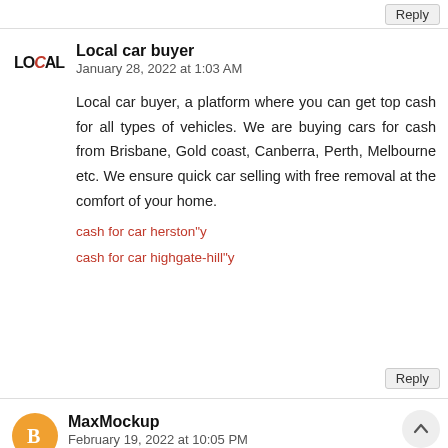Reply
Local car buyer
January 28, 2022 at 1:03 AM
Local car buyer, a platform where you can get top cash for all types of vehicles. We are buying cars for cash from Brisbane, Gold coast, Canberra, Perth, Melbourne etc. We ensure quick car selling with free removal at the comfort of your home.
cash for car herston"y
cash for car highgate-hill"y
Reply
MaxMockup
February 19, 2022 at 10:05 PM
Nice post, I really enjoyed reading this article, it